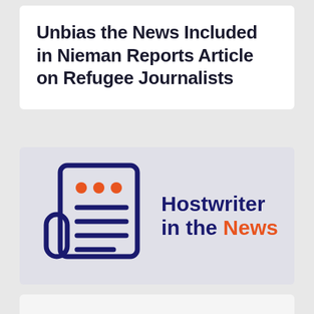Unbias the News Included in Nieman Reports Article on Refugee Journalists
[Figure (logo): Hostwriter in the News logo: a dark navy newspaper icon with orange dots and horizontal lines, alongside the text 'Hostwriter in the News' with 'News' in orange]